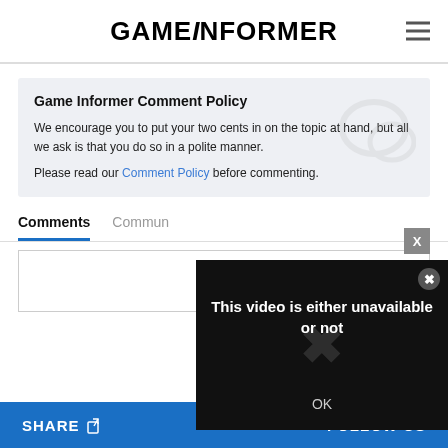GAMEINFORMER
Game Informer Comment Policy
We encourage you to put your two cents in on the topic at hand, but all we ask is that you do so in a polite manner.
Please read our Comment Policy before commenting.
Comments   Community
[Figure (screenshot): Video error modal overlay on dark background with text 'This video is either unavailable or not' and an OK button, with a close button (x) in top-right corner.]
SHARE   FOLLOW US